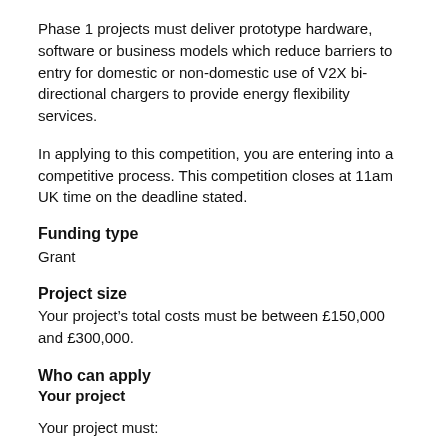Phase 1 projects must deliver prototype hardware, software or business models which reduce barriers to entry for domestic or non-domestic use of V2X bi-directional chargers to provide energy flexibility services.
In applying to this competition, you are entering into a competitive process. This competition closes at 11am UK time on the deadline stated.
Funding type
Grant
Project size
Your project’s total costs must be between £150,000 and £300,000.
Who can apply
Your project
Your project must:
have total costs between £150,000 and £300,000